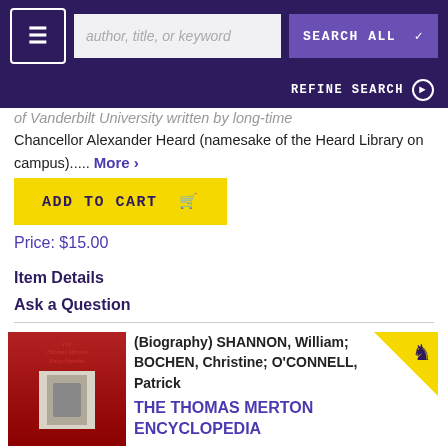author, title, or keyword  SEARCH ALL  REFINE SEARCH
of Vanderbilt University written by long-time Chancellor Alexander Heard (namesake of the Heard Library on campus).....  More >
ADD TO CART
Price: $15.00
Item Details
Ask a Question
(Biography) SHANNON, William; BOCHEN, Christine; O'CONNELL, Patrick
THE THOMAS MERTON ENCYCLOPEDIA
[Figure (photo): Book cover of The Thomas Merton Encyclopedia with red background and author photo]